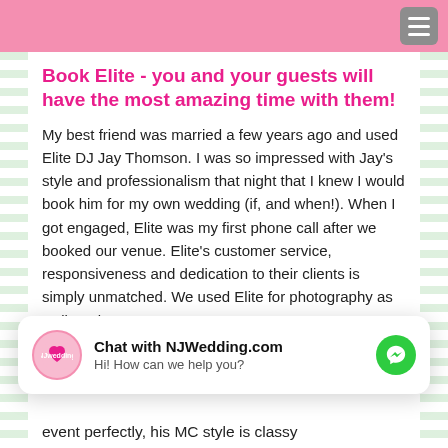Book Elite - you and your guests will have the most amazing time with them!
My best friend was married a few years ago and used Elite DJ Jay Thomson. I was so impressed with Jay's style and professionalism that night that I knew I would book him for my own wedding (if, and when!). When I got engaged, Elite was my first phone call after we booked our venue. Elite's customer service, responsiveness and dedication to their clients is simply unmatched. We used Elite for photography as well, and we
Chat with NJWedding.com
Hi! How can we help you?
event perfectly, his MC style is classy